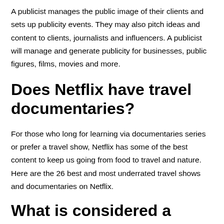A publicist manages the public image of their clients and sets up publicity events. They may also pitch ideas and content to clients, journalists and influencers. A publicist will manage and generate publicity for businesses, public figures, films, movies and more.
Does Netflix have travel documentaries?
For those who long for learning via documentaries series or prefer a travel show, Netflix has some of the best content to keep us going from food to travel and nature. Here are the 26 best and most underrated travel shows and documentaries on Netflix.
What is considered a tour?
A concert tour (or simply tour) is a series of concerts by an artist or group of artists in different cities, countries or locations. Often